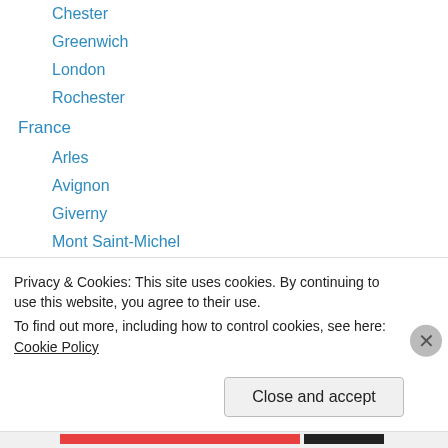Chester
Greenwich
London
Rochester
France
Arles
Avignon
Giverny
Mont Saint-Michel
Paris
Garden
Germany
Frankfurt
Koblenz
Privacy & Cookies: This site uses cookies. By continuing to use this website, you agree to their use. To find out more, including how to control cookies, see here: Cookie Policy
Close and accept